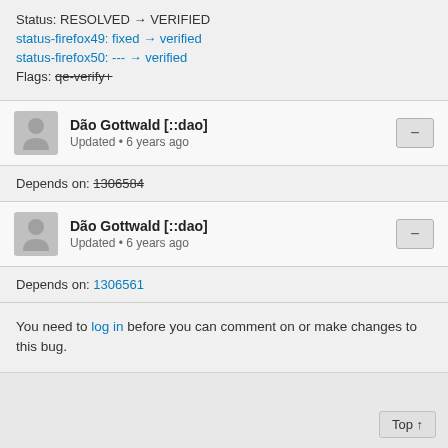Status: RESOLVED → VERIFIED
status-firefox49: fixed → verified
status-firefox50: --- → verified
Flags: qe-verify+
Dão Gottwald [::dao]
Updated • 6 years ago
Depends on: 1306584
Dão Gottwald [::dao]
Updated • 6 years ago
Depends on: 1306561
You need to log in before you can comment on or make changes to this bug.